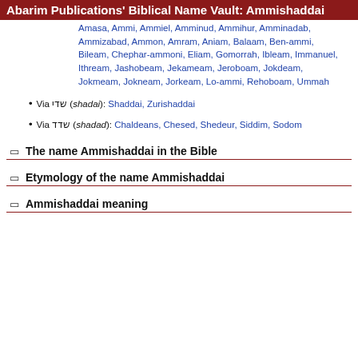Abarim Publications' Biblical Name Vault: Ammishaddai
Amasa, Ammi, Ammiel, Amminud, Ammihur, Amminadab, Ammizabad, Ammon, Amram, Aniam, Balaam, Ben-ammi, Bileam, Chephar-ammoni, Eliam, Gomorrah, Ibleam, Immanuel, Ithream, Jashobeam, Jekameam, Jeroboam, Jokdeam, Jokmeam, Jokneam, Jorkeam, Lo-ammi, Rehoboam, Ummah
Via שדי (shadai): Shaddai, Zurishaddai
Via שדד (shadad): Chaldeans, Chesed, Shedeur, Siddim, Sodom
The name Ammishaddai in the Bible
Etymology of the name Ammishaddai
Ammishaddai meaning